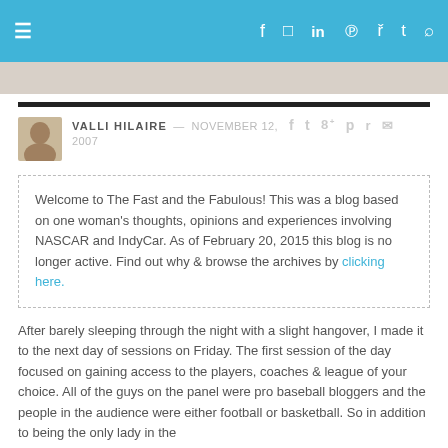≡  f  ◻  in  ℗  ᴿˢˢ  𝕥  🔍
[Figure (other): Partial blog header banner image strip]
VALLI HILAIRE — NOVEMBER 12, 2007
Welcome to The Fast and the Fabulous! This was a blog based on one woman's thoughts, opinions and experiences involving NASCAR and IndyCar. As of February 20, 2015 this blog is no longer active. Find out why & browse the archives by clicking here.
After barely sleeping through the night with a slight hangover, I made it to the next day of sessions on Friday. The first session of the day focused on gaining access to the players, coaches & league of your choice. All of the guys on the panel were pro baseball bloggers and the people in the audience were either football or basketball. So in addition to being the only lady in the